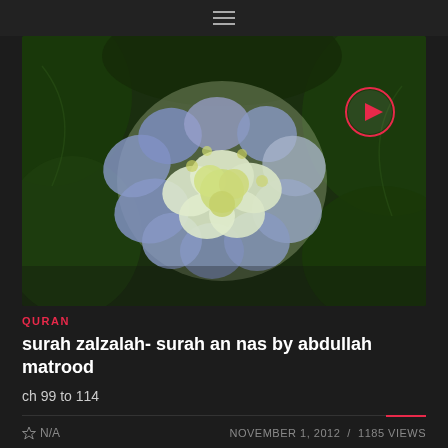≡
[Figure (photo): Close-up photograph of a hydrangea flower with blue-purple and white/yellow petals surrounded by green leaves, with a circular play button overlay in top-right corner]
QURAN
surah zalzalah- surah an nas by abdullah matrood
ch 99 to 114
☆ N/A    NOVEMBER 1, 2012  /  1185 VIEWS